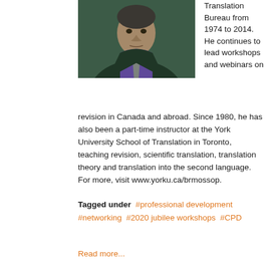[Figure (photo): Portrait photo of a man wearing a dark jacket and purple shirt, shown from shoulders up]
Translation Bureau from 1974 to 2014. He continues to lead workshops and webinars on revision in Canada and abroad. Since 1980, he has also been a part-time instructor at the York University School of Translation in Toronto, teaching revision, scientific translation, translation theory and translation into the second language. For more, visit www.yorku.ca/brmossop.
Tagged under  #professional development  #networking  #2020 jubilee workshops  #CPD
Read more...